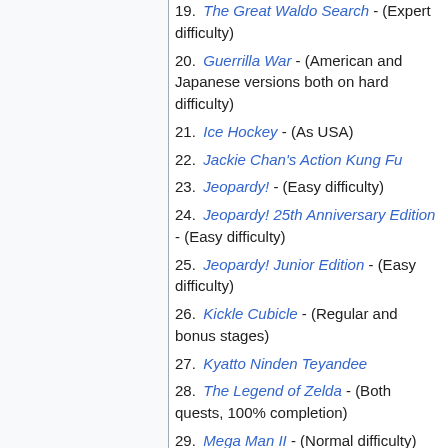19. The Great Waldo Search - (Expert difficulty)
20. Guerrilla War - (American and Japanese versions both on hard difficulty)
21. Ice Hockey - (As USA)
22. Jackie Chan's Action Kung Fu
23. Jeopardy! - (Easy difficulty)
24. Jeopardy! 25th Anniversary Edition - (Easy difficulty)
25. Jeopardy! Junior Edition - (Easy difficulty)
26. Kickle Cubicle - (Regular and bonus stages)
27. Kyatto Ninden Teyandee
28. The Legend of Zelda - (Both quests, 100% completion)
29. Mega Man II - (Normal difficulty)
30. Metroid - (Endings 5 and 3)